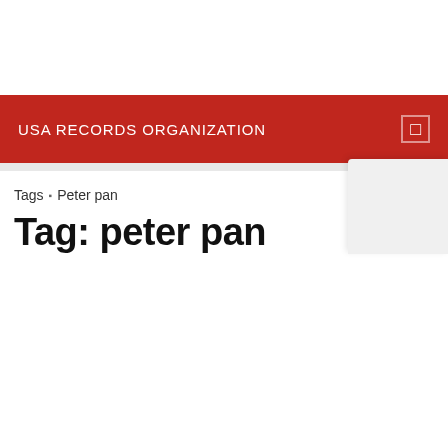USA RECORDS ORGANIZATION
Tags › Peter pan
Tag: peter pan